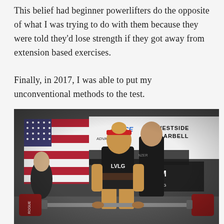This belief had beginner powerlifters do the opposite of what I was trying to do with them because they were told they'd lose strength if they got away from extension based exercises.

Finally, in 2017, I was able to put my unconventional methods to the test.
[Figure (photo): A female powerlifter wearing a black singlet with 'LVLG' on the chest and a lifting belt, performing a deadlift at a powerlifting competition. She is pulling a heavily loaded barbell with red Rogue plates. A male spotter/coach in a black t-shirt stands behind her. In the background there is an American flag, and banners including 'INCE ADVANCED', 'WESTSIDE BARBELL', 'NZER', and 'AM RLIFTING'. Another female competitor is visible in the background on the left.]